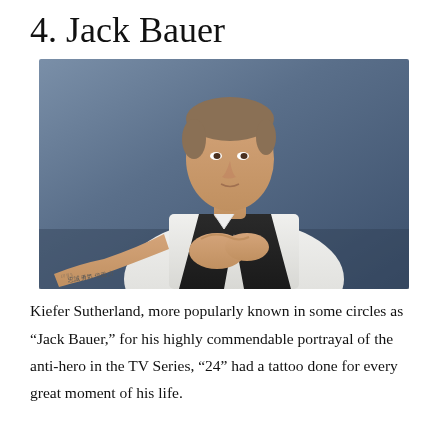4. Jack Bauer
[Figure (photo): Kiefer Sutherland posing in a white shirt and dark vest, showing a tattoo on his forearm, against a blue-grey background.]
Kiefer Sutherland, more popularly known in some circles as “Jack Bauer,” for his highly commendable portrayal of the anti-hero in the TV Series, “24” had a tattoo done for every great moment of his life.